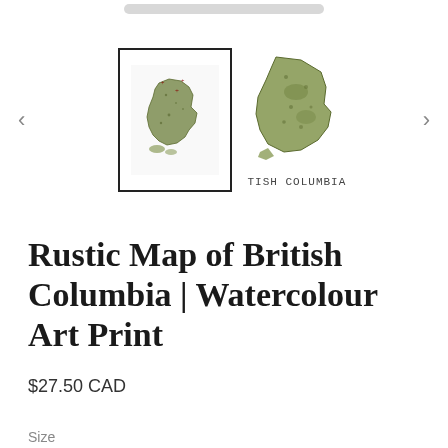[Figure (screenshot): E-commerce product page screenshot showing two thumbnail images of a watercolour map of British Columbia, with left and right navigation arrows and a scrollbar at the top]
Rustic Map of British Columbia | Watercolour Art Print
$27.50 CAD
Size